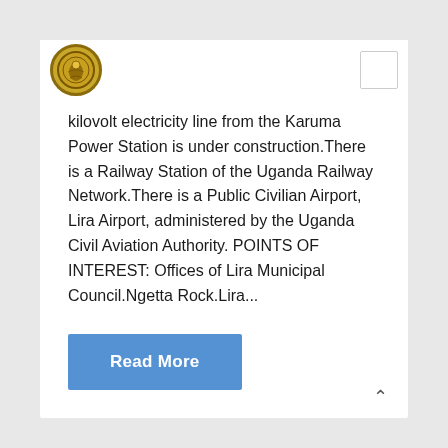[Figure (logo): Circular gold and brown government/municipal seal logo]
kilovolt electricity line from the Karuma Power Station is under construction.There is a Railway Station of the Uganda Railway Network.There is a Public Civilian Airport, Lira Airport, administered by the Uganda Civil Aviation Authority. POINTS OF INTEREST: Offices of Lira Municipal Council.Ngetta Rock.Lira...